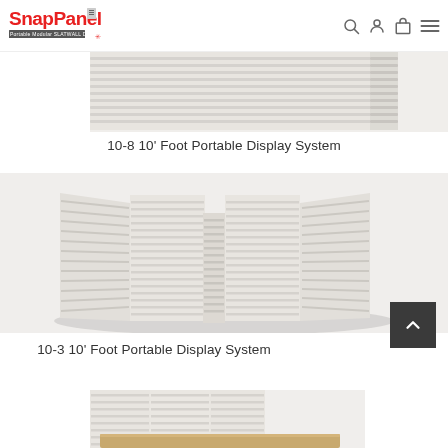SnapPanel — Portable Modular SLATWALL Displays
[Figure (photo): Cropped top portion of a white slatwall portable display panel system (10-8 model), showing the upper corner section against a white background]
10-8 10' Foot Portable Display System
[Figure (photo): 3D render of the 10-3 10-foot portable slatwall display system, showing a U-shaped or curved white slatwall panel arrangement with a center pillar, casting a soft shadow on a white surface]
10-3 10' Foot Portable Display System
[Figure (photo): Cropped bottom portion of another portable slatwall display system, showing panels on a light wood-colored base/platform, partially visible]